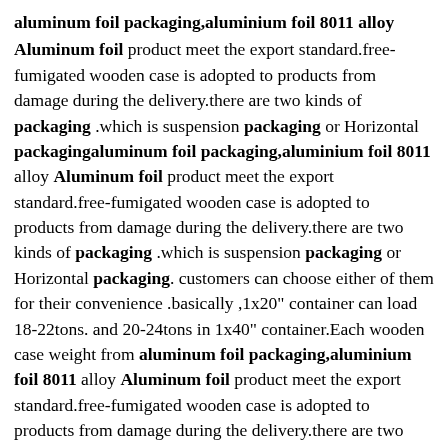aluminum foil packaging,aluminium foil 8011 alloy
Aluminum foil product meet the export standard.free-fumigated wooden case is adopted to products from damage during the delivery.there are two kinds of packaging .which is suspension packaging or Horizontal packagingaluminum foil packaging,aluminium foil 8011 alloy Aluminum foil product meet the export standard.free-fumigated wooden case is adopted to products from damage during the delivery.there are two kinds of packaging .which is suspension packaging or Horizontal packaging. customers can choose either of them for their convenience .basically ,1x20" container can load 18-22tons. and 20-24tons in 1x40" container.Each wooden case weight from aluminum foil packaging,aluminium foil 8011 alloy Aluminum foil product meet the export standard.free-fumigated wooden case is adopted to products from damage during the delivery.there are two kinds of packaging .which is suspension packaging or Horizontal